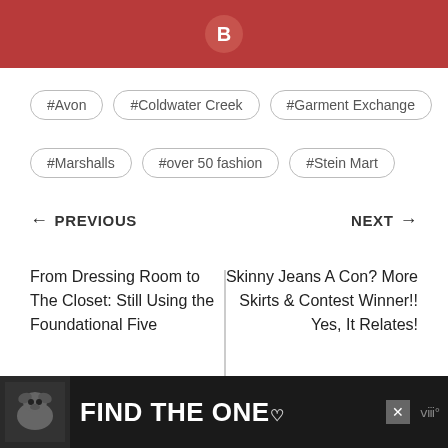[Figure (logo): Red banner with Blogger icon (white 'B' in circle)]
#Avon
#Coldwater Creek
#Garment Exchange
#Marshalls
#over 50 fashion
#Stein Mart
← PREVIOUS
NEXT →
From Dressing Room to The Closet: Still Using the Foundational Five
Skinny Jeans A Con? More Skirts & Contest Winner!! Yes, It Relates!
15 Comments
[Figure (photo): Advertisement banner: dog photo with 'FIND THE ONE' text on dark background]